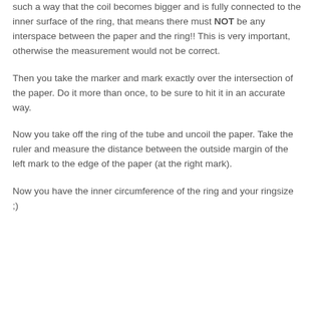such a way that the coil becomes bigger and is fully connected to the inner surface of the ring, that means there must NOT be any interspace between the paper and the ring!! This is very important, otherwise the measurement would not be correct.
Then you take the marker and mark exactly over the intersection of the paper. Do it more than once, to be sure to hit it in an accurate way.
Now you take off the ring of the tube and uncoil the paper. Take the ruler and measure the distance between the outside margin of the left mark to the edge of the paper (at the right mark).
Now you have the inner circumference of the ring and your ringsize ;)